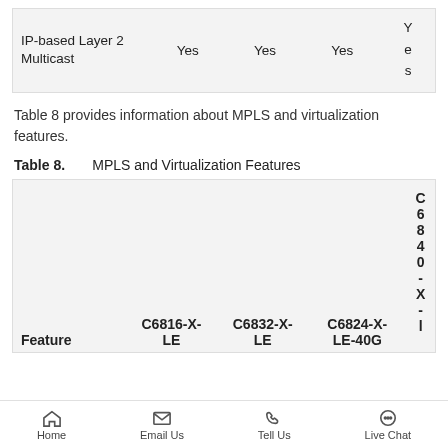| Feature | C6816-X-LE | C6832-X-LE | C6824-X-LE-40G | C6840-X-LE |
| --- | --- | --- | --- | --- |
| IP-based Layer 2 Multicast | Yes | Yes | Yes | Yes |
Table 8 provides information about MPLS and virtualization features.
Table 8.    MPLS and Virtualization Features
| Feature | C6816-X-LE | C6832-X-LE | C6824-X-LE-40G | C6840-X-LE |
| --- | --- | --- | --- | --- |
Home | Email Us | Tell Us | Live Chat